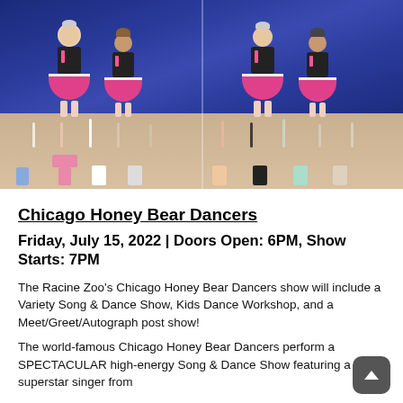[Figure (photo): Two side-by-side photos of Chicago Honey Bear Dancers performing on stage in black tops and bright pink skirts, with children in the audience raising their hands in front of a blue curtain background.]
Chicago Honey Bear Dancers
Friday, July 15, 2022 | Doors Open: 6PM, Show Starts: 7PM
The Racine Zoo's Chicago Honey Bear Dancers show will include a Variety Song & Dance Show, Kids Dance Workshop, and a Meet/Greet/Autograph post show!
The world-famous Chicago Honey Bear Dancers perform a SPECTACULAR high-energy Song & Dance Show featuring a superstar singer from